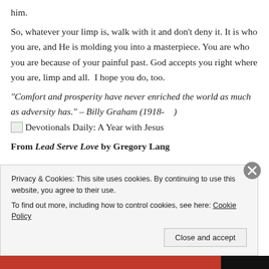him.
So, whatever your limp is, walk with it and don’t deny it. It is who you are, and He is molding you into a masterpiece. You are who you are because of your painful past. God accepts you right where you are, limp and all.  I hope you do, too.
“Comfort and prosperity have never enriched the world as much as adversity has.” – Billy Graham (1918-    )
[Figure (other): Small image icon placeholder followed by text: Devotionals Daily: A Year with Jesus]
From Lead Serve Love by Gregory Lang
Privacy & Cookies: This site uses cookies. By continuing to use this website, you agree to their use.
To find out more, including how to control cookies, see here: Cookie Policy
Close and accept